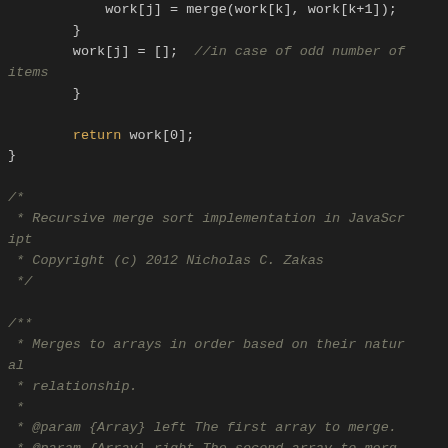[Figure (screenshot): Source code snippet showing JavaScript merge sort implementation — iterative portion ending with return work[0], followed by JSDoc comments for recursive merge sort by Nicholas C. Zakas (2012), and start of a merge function doc comment.]